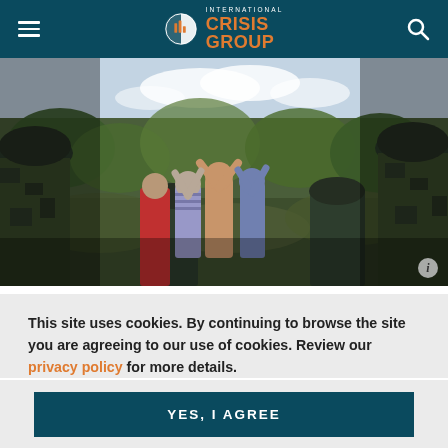International Crisis Group
[Figure (photo): Military soldiers in camouflage uniforms facing civilians with hands raised in a rural/forested area]
This site uses cookies. By continuing to browse the site you are agreeing to our use of cookies. Review our privacy policy for more details.
YES, I AGREE